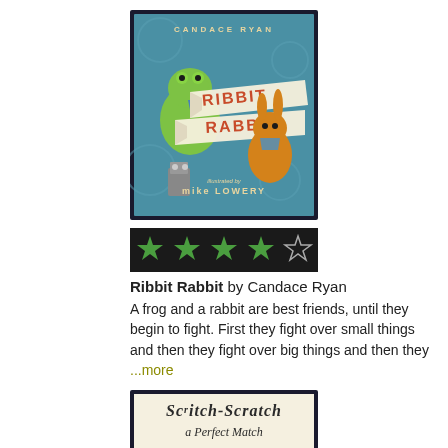[Figure (illustration): Book cover for 'Ribbit Rabbit' by Candace Ryan, illustrated by Mike Lowery. Blue background with cartoon frog and rabbit characters holding banner signs reading RIBBIT and RABBIT.]
[Figure (other): Star rating: 4 solid green stars and 1 outline star on black background, indicating approximately 4 out of 5 stars.]
Ribbit Rabbit by Candace Ryan
A frog and a rabbit are best friends, until they begin to fight. First they fight over small things and then they fight over big things and then they ...more
[Figure (illustration): Partial book cover for 'Scritch-Scratch a Perfect Match', showing the title text in stylized lettering.]